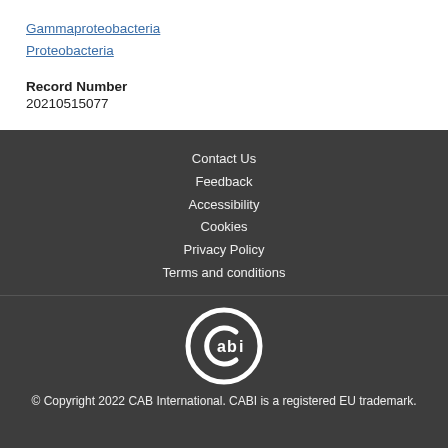Gammaproteobacteria
Proteobacteria
Record Number
20210515077
Contact Us
Feedback
Accessibility
Cookies
Privacy Policy
Terms and conditions
[Figure (logo): CABI logo — circular stylized letter C with 'abi' inside, white on dark background]
© Copyright 2022 CAB International. CABI is a registered EU trademark.